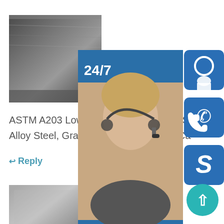[Figure (photo): Steel plate / flat steel sheet photo - dark gray metallic surface]
ASTM A203 Low Alloy Steel, Grade EAS... Alloy Steel, Grade E (discontinued **) Ca...
↩ Reply
[Figure (photo): Stacked steel plates / metal blocks photo - gray metallic]
SS400 material spec, SS400 density - BBN SteelSS400 density is 7850 kg/m3. With SS400 density, we
↩ Reply
[Figure (infographic): Customer service sidebar with 24/7 label, customer service agent photo, phone/headset/Skype icons, PROVIDE Empowering Customers text, online live button]